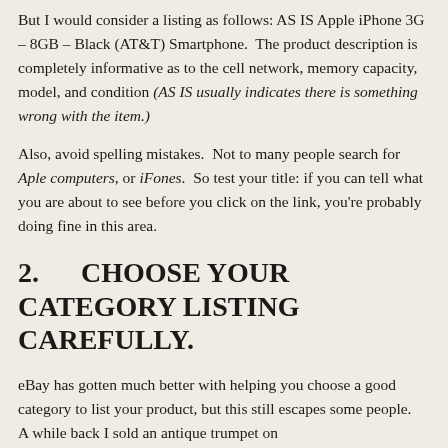But I would consider a listing as follows: AS IS Apple iPhone 3G – 8GB – Black (AT&T) Smartphone.  The product description is completely informative as to the cell network, memory capacity, model, and condition (AS IS usually indicates there is something wrong with the item.)
Also, avoid spelling mistakes.  Not to many people search for Aple computers, or iFones.  So test your title: if you can tell what you are about to see before you click on the link, you're probably doing fine in this area.
2.     CHOOSE YOUR CATEGORY LISTING CAREFULLY.
eBay has gotten much better with helping you choose a good category to list your product, but this still escapes some people.  A while back I sold an antique trumpet on